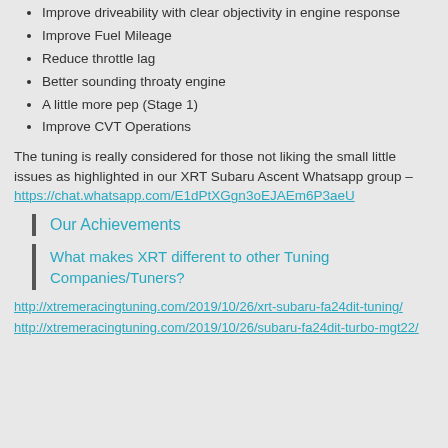Improve driveability with clear objectivity in engine response
Improve Fuel Mileage
Reduce throttle lag
Better sounding throaty engine
A little more pep (Stage 1)
Improve CVT Operations
The tuning is really considered for those not liking the small little issues as highlighted in our XRT Subaru Ascent Whatsapp group – https://chat.whatsapp.com/E1dPtXGgn3oEJAEm6P3aeU
Our Achievements
What makes XRT different to other Tuning Companies/Tuners?
http://xtremeracingtuning.com/2019/10/26/xrt-subaru-fa24dit-tuning/
http://xtremeracingtuning.com/2019/10/26/subaru-fa24dit-turbo-mgt22/